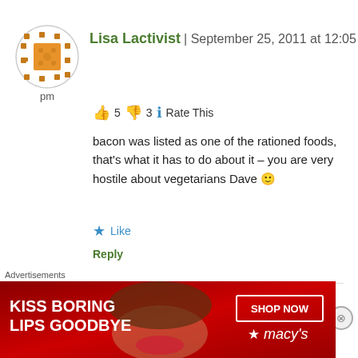Lisa Lactivist | September 25, 2011 at 12:05 pm
👍 5 👎 3 ℹ Rate This
bacon was listed as one of the rationed foods, that's what it has to do about it – you are very hostile about vegetarians Dave 🙂
★ Like
Reply
dave | September 25, 2011 at 5:41 pm
Advertisements
[Figure (photo): Macy's advertisement banner: KISS BORING LIPS GOODBYE with SHOP NOW button and Macys star logo]